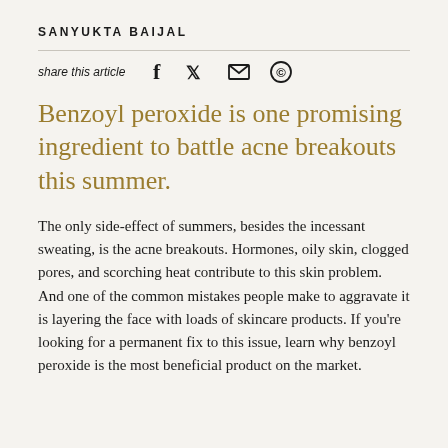SANYUKTA BAIJAL
share this article
Benzoyl peroxide is one promising ingredient to battle acne breakouts this summer.
The only side-effect of summers, besides the incessant sweating, is the acne breakouts. Hormones, oily skin, clogged pores, and scorching heat contribute to this skin problem. And one of the common mistakes people make to aggravate it is layering the face with loads of skincare products. If you're looking for a permanent fix to this issue, learn why benzoyl peroxide is the most beneficial product on the market.